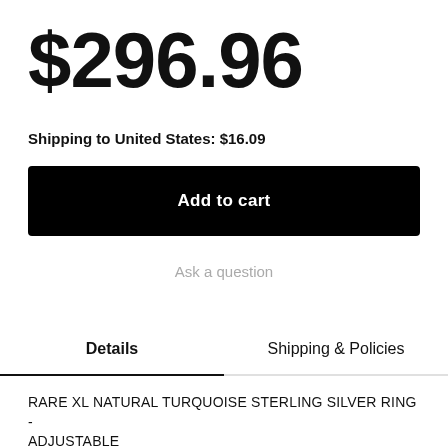$296.96
Shipping to United States: $16.09
Add to cart
Ask a question
Details
Shipping & Policies
RARE XL NATURAL TURQUOISE STERLING SILVER RING - ADJUSTABLE